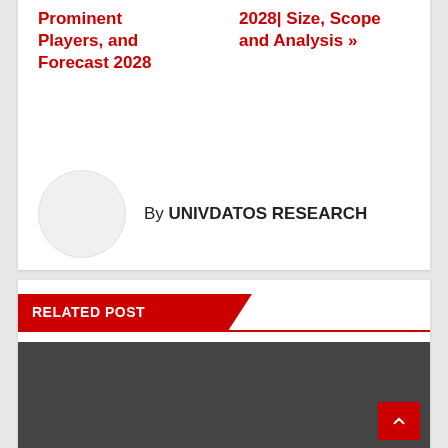Prominent Players, and Forecast 2028
2028| Size, Scope and Analysis >>
By UNIVDATOS RESEARCH
RELATED POST
[Figure (photo): Dark placeholder image for related post]
MARKET